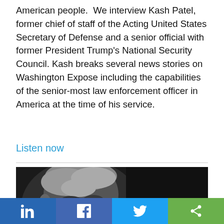American people.  We interview Kash Patel, former chief of staff of the Acting United States Secretary of Defense and a senior official with former President Trump's National Security Council. Kash breaks several news stories on Washington Expose including the capabilities of the senior-most law enforcement officer in America at the time of his service.
Listen now
[Figure (photo): Black and white photo of an elderly man (Joe Biden) with text overlay reading "Biden's Secret Illegal Gun"]